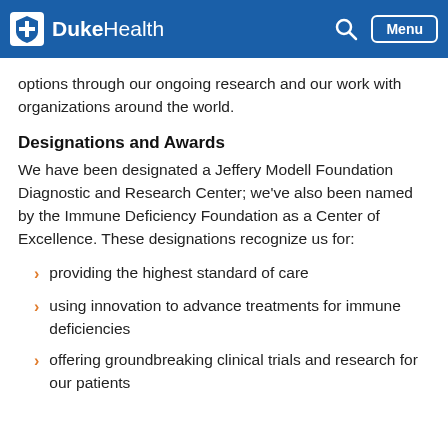DukeHealth | Menu
options through our ongoing research and our work with organizations around the world.
Designations and Awards
We have been designated a Jeffery Modell Foundation Diagnostic and Research Center; we've also been named by the Immune Deficiency Foundation as a Center of Excellence. These designations recognize us for:
providing the highest standard of care
using innovation to advance treatments for immune deficiencies
offering groundbreaking clinical trials and research for our patients